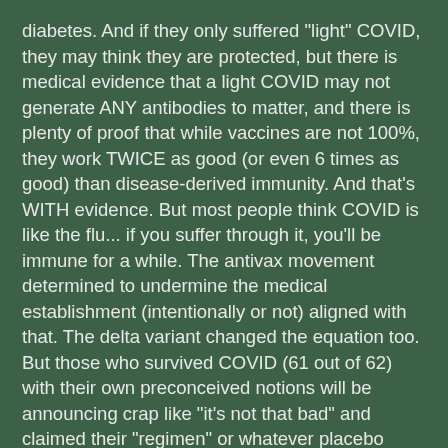diabetes. And if they only suffered "light" COVID, they may think they are protected, but there is medical evidence that a light COVID may not generate ANY antibodies to matter, and there is plenty of proof that while vaccines are not 100%, they work TWICE as good (or even 6 times as good) than disease-derived immunity. And that's WITH evidence. But most people think COVID is like the flu... if you suffer through it, you'll be immune for a while. The antivax movement determined to undermine the medical establishment (intentionally or not) aligned with that. The delta variant changed the equation too. But those who survived COVID (61 out of 62) with their own preconceived notions will be announcing crap like "it's not that bad" and claimed their "regimen" or whatever placebo treatment they got (Ivermectin, hydro---whatever, zinc and vitamins) worked for them (ie. Mister Rodgers)
* COVID in children -- while it's true that FEWER children